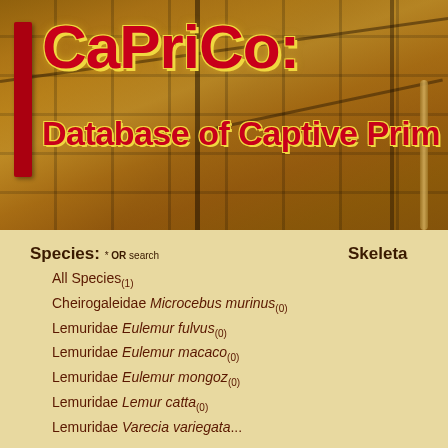[Figure (photo): Banner image of a warehouse with stacked cardboard boxes on shelving racks, with red vertical bar on left and bold red text overlay reading 'CaPriCo: Database of Captive Prim' (truncated)]
CaPriCo: Database of Captive Prim
Species: * OR search
  All Species(1)
  Cheirogaleidae Microcebus murinus(0)
  Lemuridae Eulemur fulvus(0)
  Lemuridae Eulemur macaco(0)
  Lemuridae Eulemur mongoz(0)
  Lemuridae Lemur catta(0)
  Lemuridae Varecia variegata...
Skeleta